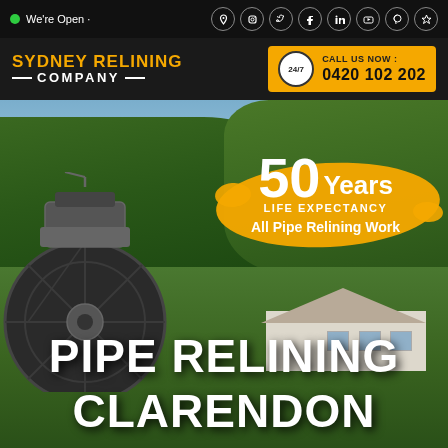We're Open · Social icons (location, instagram, twitter, facebook, linkedin, youtube, pinterest, star)
[Figure (logo): Sydney Relining Company logo — yellow text 'SYDNEY RELINING' above white 'COMPANY' with decorative lines]
CALL US NOW : 0420 102 202
[Figure (photo): Background photo of a house with green lawn and trees, with a pipe relining robotic machine in the foreground. An orange paint-brush stroke badge overlaid with text '50 Years LIFE EXPECTANCY All Pipe Relining Work']
PIPE RELINING CLARENDON